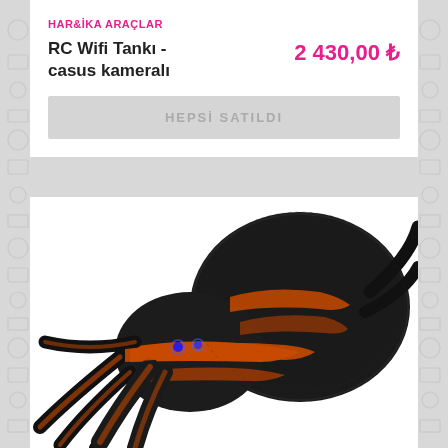HARİKA ARAÇLAR
RC Wifi Tankı - casus kamera lı
2 430,00 ₺
HEPSİ SATILDI
[Figure (photo): Close-up photo of a black and orange remote-controlled spider toy (tarantula) with blue LED eyes, shown on a white background]